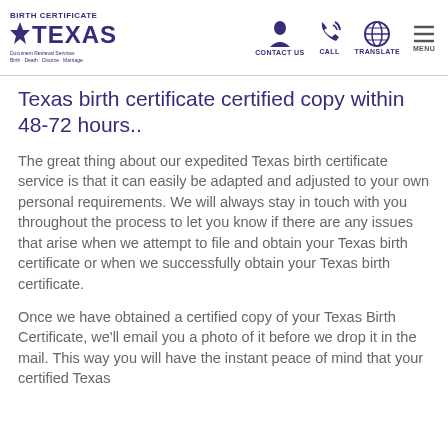BIRTH CERTIFICATE TEXAS | CONTACT US | CALL | TRANSLATE | MENU
Texas birth certificate certified copy within 48-72 hours..
The great thing about our expedited Texas birth certificate service is that it can easily be adapted and adjusted to your own personal requirements. We will always stay in touch with you throughout the process to let you know if there are any issues that arise when we attempt to file and obtain your Texas birth certificate or when we successfully obtain your Texas birth certificate.
Once we have obtained a certified copy of your Texas Birth Certificate, we'll email you a photo of it before we drop it in the mail. This way you will have the instant peace of mind that your certified Texas...